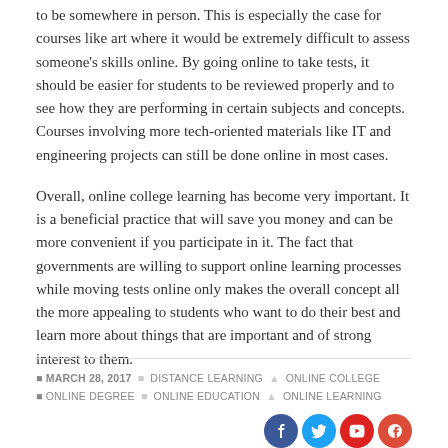to be somewhere in person. This is especially the case for courses like art where it would be extremely difficult to assess someone's skills online. By going online to take tests, it should be easier for students to be reviewed properly and to see how they are performing in certain subjects and concepts. Courses involving more tech-oriented materials like IT and engineering projects can still be done online in most cases.
Overall, online college learning has become very important. It is a beneficial practice that will save you money and can be more convenient if you participate in it. The fact that governments are willing to support online learning processes while moving tests online only makes the overall concept all the more appealing to students who want to do their best and learn more about things that are important and of strong interest to them.
MARCH 28, 2017  DISTANCE LEARNING  ONLINE COLLEGE  ONLINE DEGREE  ONLINE EDUCATION  ONLINE LEARNING